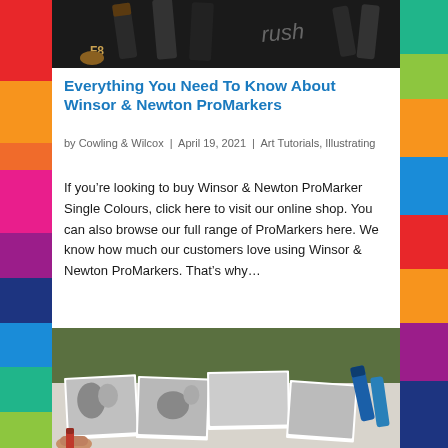[Figure (photo): Close-up photo of art markers/brushes on dark background, partially cropped at top]
Everything You Need To Know About Winsor & Newton ProMarkers
by Cowling & Wilcox | April 19, 2021 | Art Tutorials, Illustrating
If you’re looking to buy Winsor & Newton ProMarker Single Colours, click here to visit our online shop. You can also browse our full range of ProMarkers here. We know how much our customers love using Winsor & Newton ProMarkers. That’s why…
[Figure (photo): Photo of black-and-white animal photo prints laid on a table with ProMarkers nearby and a hand holding a red marker]